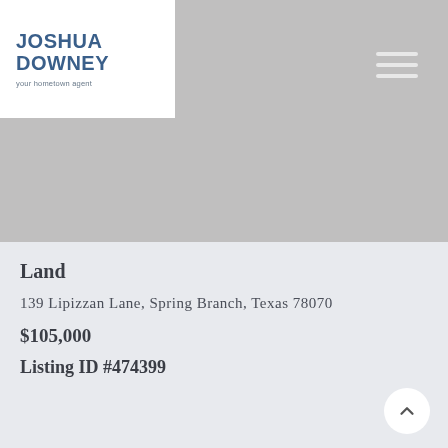[Figure (logo): Joshua Downey real estate agent logo — white box with blue bold text 'JOSHUA DOWNEY' and tagline 'your hometown agent']
[Figure (photo): Large gray placeholder image area representing a property photo header]
Land
139 Lipizzan Lane, Spring Branch, Texas 78070
$105,000
Listing ID #474399